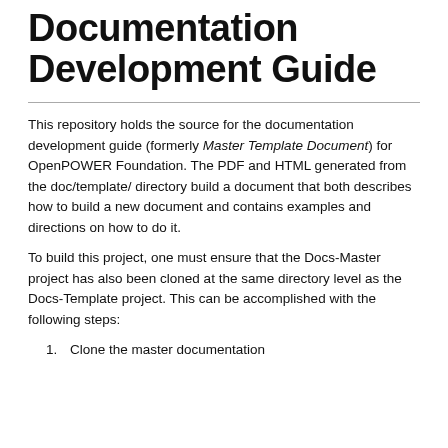Documentation Development Guide
This repository holds the source for the documentation development guide (formerly Master Template Document) for OpenPOWER Foundation. The PDF and HTML generated from the doc/template/ directory build a document that both describes how to build a new document and contains examples and directions on how to do it.
To build this project, one must ensure that the Docs-Master project has also been cloned at the same directory level as the Docs-Template project. This can be accomplished with the following steps:
1. Clone the master documentation